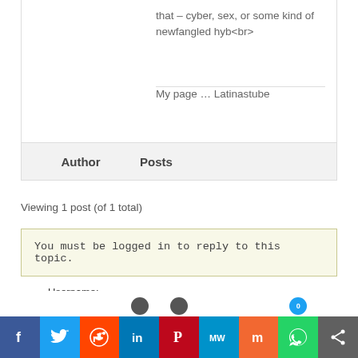that – cyber, sex, or some kind of newfangled hyb<br>
My page … Latinastube
| Author | Posts |
| --- | --- |
Viewing 1 post (of 1 total)
You must be logged in to reply to this topic.
Username:
[Figure (infographic): Social media share bar with icons: Facebook, Twitter, Reddit, LinkedIn, Pinterest, MixW, Mix, WhatsApp, Share]